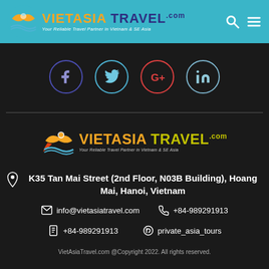VIETASIA TRAVEL.com — Your Reliable Travel Partner in Vietnam & SE Asia
[Figure (logo): VietAsia Travel logo with icon, in header teal bar]
[Figure (infographic): Social media icons: Facebook, Twitter, Google+, LinkedIn circles]
[Figure (logo): VietAsia Travel footer logo with tagline]
K35 Tan Mai Street (2nd Floor, N03B Building), Hoang Mai, Hanoi, Vietnam
info@vietasiatravel.com
+84-989291913
+84-989291913
private_asia_tours
VietAsiaTravel.com @Copyright 2022. All rights reserved.